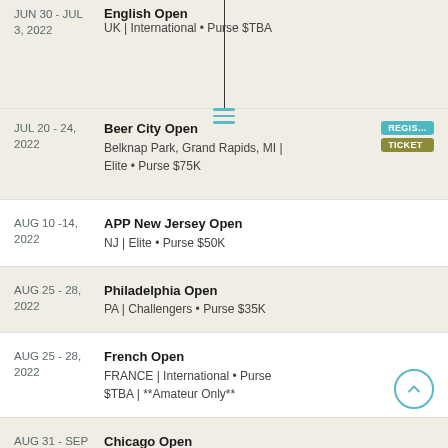JUN 30 - JUL 3, 2022 | English Open | UK | International • Purse $TBA
JUL 20 - 24, 2022 | Beer City Open | Belknap Park, Grand Rapids, MI | Elite • Purse $75K
AUG 10 - 14, 2022 | APP New Jersey Open | NJ | Elite • Purse $50K
AUG 25 - 28, 2022 | Philadelphia Open | PA | Challengers • Purse $35K
AUG 25 - 28, 2022 | French Open | FRANCE | International • Purse $TBA | **Amateur Only**
AUG 31 - SEP 4, 2022 | Chicago Open | IL | Elite • Purse $50K